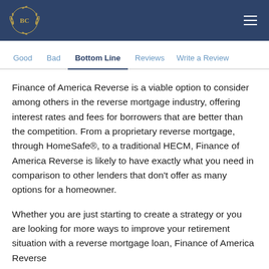BC
Good   Bad   Bottom Line   Reviews   Write a Review
Finance of America Reverse is a viable option to consider among others in the reverse mortgage industry, offering interest rates and fees for borrowers that are better than the competition. From a proprietary reverse mortgage, through HomeSafe®, to a traditional HECM, Finance of America Reverse is likely to have exactly what you need in comparison to other lenders that don't offer as many options for a homeowner.
Whether you are just starting to create a strategy or you are looking for more ways to improve your retirement situation with a reverse mortgage loan, Finance of America Reverse will be a good choice to cover your needs for your retirement